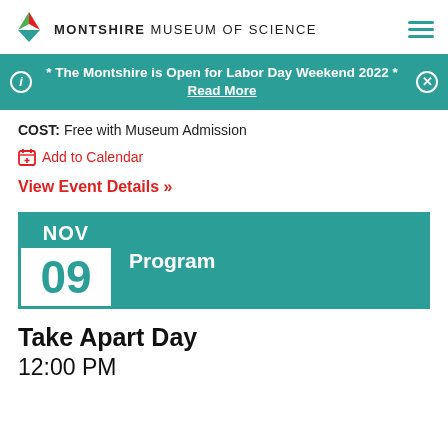MONTSHIRE MUSEUM OF SCIENCE
* The Montshire is Open for Labor Day Weekend 2022 * Read More
COST: Free with Museum Admission
Add to Calendar
View Event Details >>
NOV 09 Program
Take Apart Day
12:00 PM